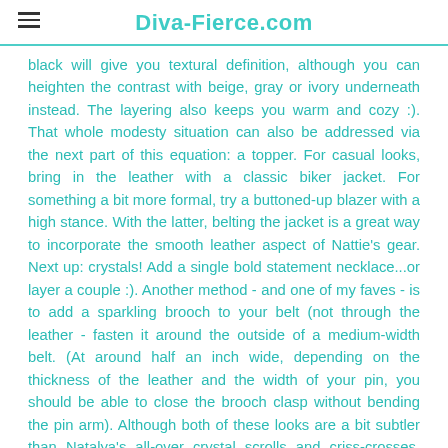Diva-Fierce.com
black will give you textural definition, although you can heighten the contrast with beige, gray or ivory underneath instead. The layering also keeps you warm and cozy :). That whole modesty situation can also be addressed via the next part of this equation: a topper. For casual looks, bring in the leather with a classic biker jacket. For something a bit more formal, try a buttoned-up blazer with a high stance. With the latter, belting the jacket is a great way to incorporate the smooth leather aspect of Nattie's gear. Next up: crystals! Add a single bold statement necklace...or layer a couple :). Another method - and one of my faves - is to add a sparkling brooch to your belt (not through the leather - fasten it around the outside of a medium-width belt. (At around half an inch wide, depending on the thickness of the leather and the width of your pin, you should be able to close the brooch clasp without bending the pin arm). Although both of these looks are a bit subtler than Natalya's all-over crystal scrolls and criss-crosses, they capture the glamorous spirit of her styling in a way that translates well to